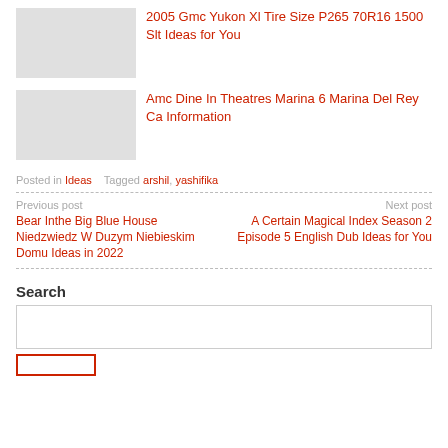2005 Gmc Yukon Xl Tire Size P265 70R16 1500 Slt Ideas for You
Amc Dine In Theatres Marina 6 Marina Del Rey Ca Information
Posted in Ideas   Tagged arshil, yashifika
Previous post
Bear Inthe Big Blue House Niedzwiedz W Duzym Niebieskim Domu Ideas in 2022
Next post
A Certain Magical Index Season 2 Episode 5 English Dub Ideas for You
Search